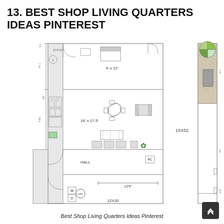13. BEST SHOP LIVING QUARTERS IDEAS PINTEREST
[Figure (engineering-diagram): Floor plan blueprint of a shop living quarters showing rooms labeled HALL, 16'x17.5', 9'x12', 15X52, 12X20, dimensions and furniture layout including table, chairs, sofa, washer (W), dryer (D), HV unit, AC unit, beds, and a separate elevation/side view on the right showing landscaping with circular tree element and dimensions 4.8' and 33' and -0.5']
Best Shop Living Quarters Ideas Pinterest